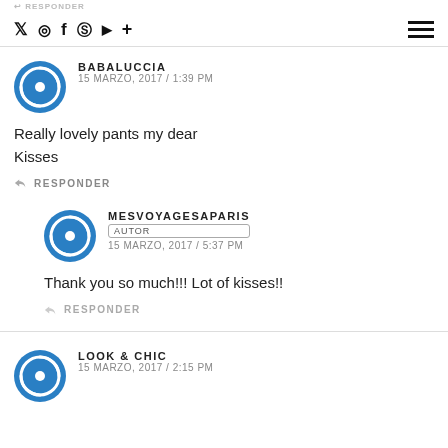RESPONDER | social icons: twitter, instagram, facebook, pinterest, youtube, plus | hamburger menu
BABALUCCIA
15 MARZO, 2017 / 1:39 PM
Really lovely pants my dear
Kisses
RESPONDER
MESVOYAGESAPARIS
AUTOR
15 MARZO, 2017 / 5:37 PM
Thank you so much!!! Lot of kisses!!
RESPONDER
LOOK & CHIC
15 MARZO, 2017 / 2:15 PM